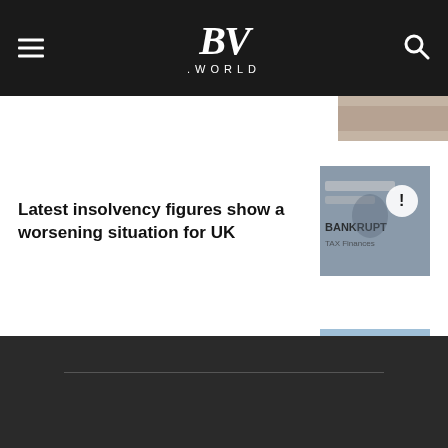BV .WORLD
[Figure (photo): Partial thumbnail of an image visible at the top right, partially cropped]
Latest insolvency figures show a worsening situation for UK
[Figure (photo): Bankruptcy-themed image with words DEADLINE, BANKRUPTCY, TAX, and a person in a suit]
Don't demolish, retrofit: Buildings key to net zero in UK
[Figure (photo): Construction excavator demolishing a building]